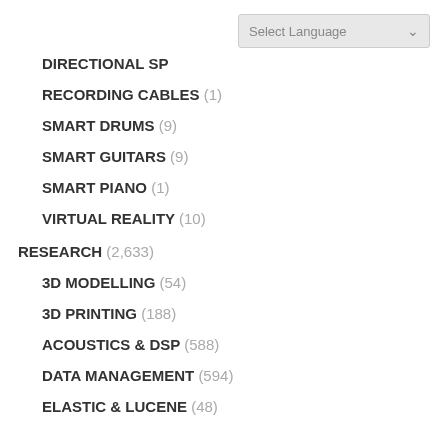DIRECTIONAL SP
RECORDING CABLES (1)
SMART DRUMS (9)
SMART GUITARS (9)
SMART PIANO (1)
VIRTUAL REALITY (10)
RESEARCH (2,633)
3D MODELLING (54)
3D PRINTING (188)
ACOUSTICS & DSP (588)
DATA MANAGEMENT (594)
ELASTIC & LUCENE (48)